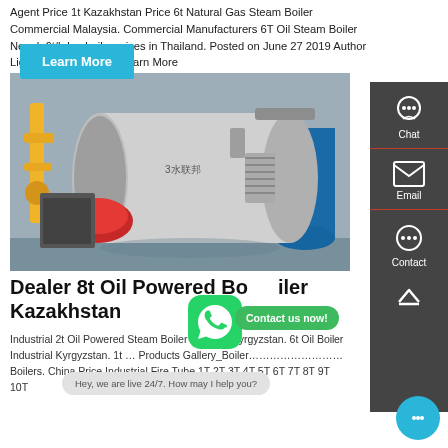Agent Price 1t Kazakhstan Price 6t Natural Gas Steam Boiler Commercial Malaysia. Commercial Manufacturers 6T Oil Steam Boiler Nepal. 6t/h lpg boiler prices in Thailand. Posted on June 27 2019 Author Light Oil Fired Boiler . Learn More
[Figure (photo): Industrial oil-powered steam boiler in a facility, with yellow gas pipes on the left, a red burner, stainless steel pipes, and a blue pressure vessel in the background.]
Dealer 8t Oil Powered Boiler Kazakhstan
Industrial 2t Oil Powered Steam Boiler Supplier Kyrgyzstan. 6t Oil Boiler Industrial Kyrgyzstan. 1t ... Products Gallery_Boiler ... Boilers. China Price Industrial Fire Tube 1T 2T 3T 4T 5T 6T 7T 8T 9T 10T